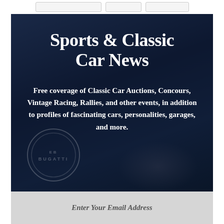[Figure (screenshot): Navigation bar with buttons at the top of the page]
Sports & Classic Car News
Free coverage of Classic Car Auctions, Concours, Vintage Racing, Rallies, and other events, in addition to profiles of fascinating cars, personalities, garages, and more.
Enter Your Email Address